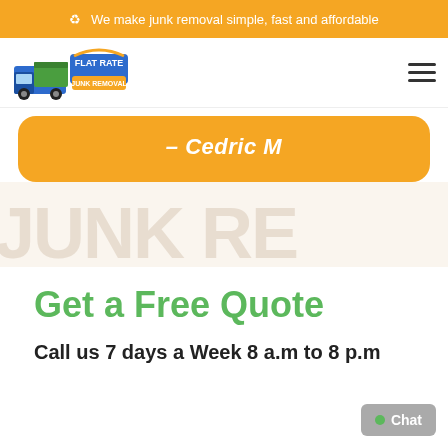♻ We make junk removal simple, fast and affordable
[Figure (logo): Flat Rate Junk Removal logo with truck and green dumpster graphic]
- Cedric M
Get a Free Quote
Call us 7 days a Week 8 a.m to 8 p.m